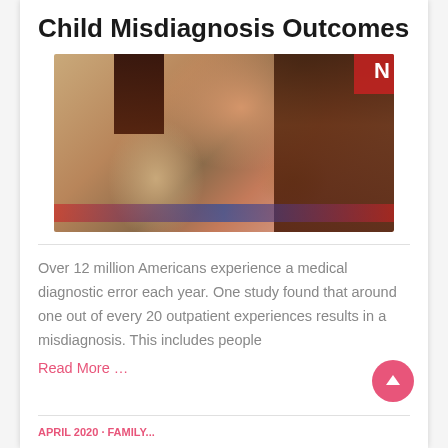Child Misdiagnosis Outcomes
[Figure (photo): A selfie photo of a smiling young child and a woman with long dark hair and red lipstick, posed together closely]
Over 12 million Americans experience a medical diagnostic error each year. One study found that around one out of every 20 outpatient experiences results in a misdiagnosis. This includes people
Read More …